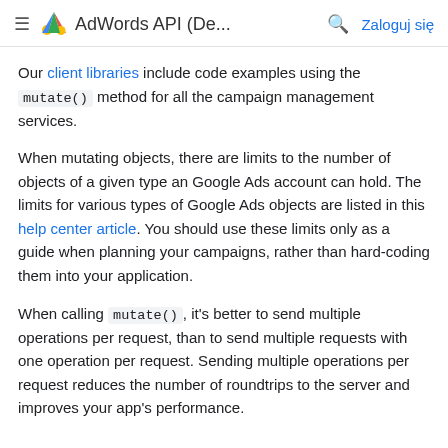AdWords API (De... Zaloguj się
Our client libraries include code examples using the mutate() method for all the campaign management services.
When mutating objects, there are limits to the number of objects of a given type an Google Ads account can hold. The limits for various types of Google Ads objects are listed in this help center article. You should use these limits only as a guide when planning your campaigns, rather than hard-coding them into your application.
When calling mutate(), it's better to send multiple operations per request, than to send multiple requests with one operation per request. Sending multiple operations per request reduces the number of roundtrips to the server and improves your app's performance.